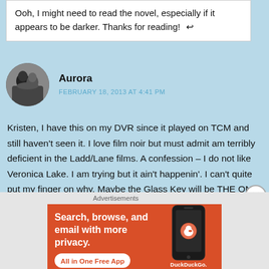Ooh, I might need to read the novel, especially if it appears to be darker. Thanks for reading! ↩
Aurora
FEBRUARY 18, 2013 AT 4:41 PM
Kristen, I have this on my DVR since it played on TCM and still haven't seen it. I love film noir but must admit am terribly deficient in the Ladd/Lane films. A confession – I do not like Veronica Lake. I am trying but it ain't happenin'. I can't quite put my finger on why. Maybe the Glass Key will be THE ONE that does it. Nice post!
Aurora
[Figure (screenshot): DuckDuckGo advertisement banner: orange background with text 'Search, browse, and email with more privacy. All in One Free App' with a phone image and DuckDuckGo duck logo.]